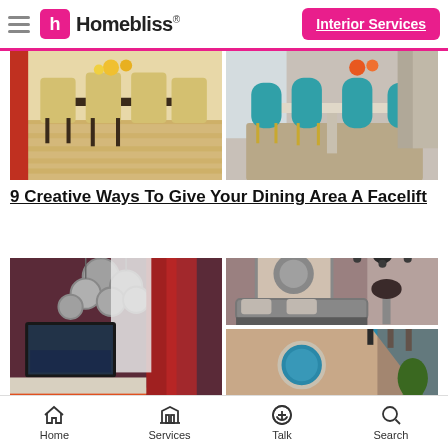Homebliss® — Interior Services
[Figure (photo): Two dining room interior photos side by side: left shows a dining table with beige/gold upholstered chairs on wood floor; right shows a dining room with teal chairs around a light-colored table.]
9 Creative Ways To Give Your Dining Area A Facelift
[Figure (photo): Collage of bedroom interior photos: large left image shows a bedroom with metallic pendant lights, red curtains, TV on wall, and orange bedspread; top-right shows a grey upholstered bed with chandelier; bottom-right shows a teal accent wall with circular mirror.]
Home   Services   Talk   Search